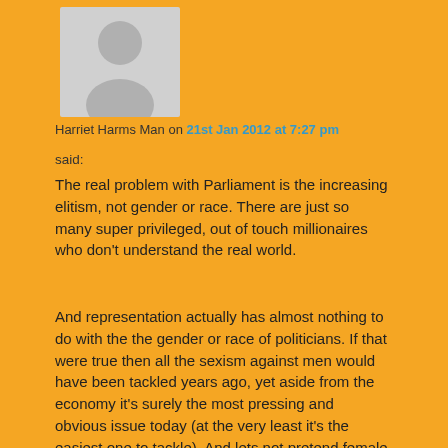[Figure (illustration): Generic grey avatar/profile picture placeholder showing a silhouette of a person]
Harriet Harms Man on 21st Jan 2012 at 7:27 pm
said:
The real problem with Parliament is the increasing elitism, not gender or race. There are just so many super privileged, out of touch millionaires who don't understand the real world.
And representation actually has almost nothing to do with the the gender or race of politicians. If that were true then all the sexism against men would have been tackled years ago, yet aside from the economy it's surely the most pressing and obvious issue today (at the very least it's the easiest one to tackle). And lets not pretend female politicians care about representing men either (just look at Lynne's record of sexism for a start).